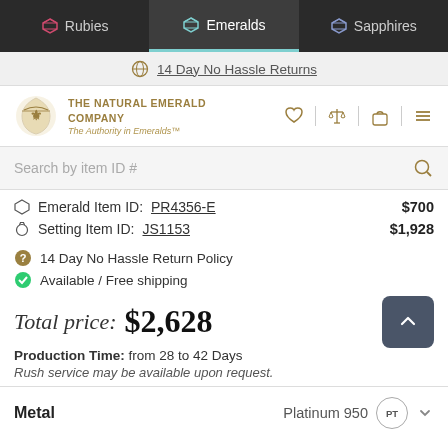Rubies | Emeralds | Sapphires
14 Day No Hassle Returns
[Figure (logo): The Natural Emerald Company crest logo with gold crown and shield]
THE NATURAL EMERALD COMPANY — The Authority in Emeralds™
Search by item ID #
Emerald Item ID: PR4356-E  $700
Setting Item ID: JS1153  $1,928
14 Day No Hassle Return Policy
Available / Free shipping
Total price: $2,628
Production Time: from 28 to 42 Days
Rush service may be available upon request.
Metal  Platinum 950